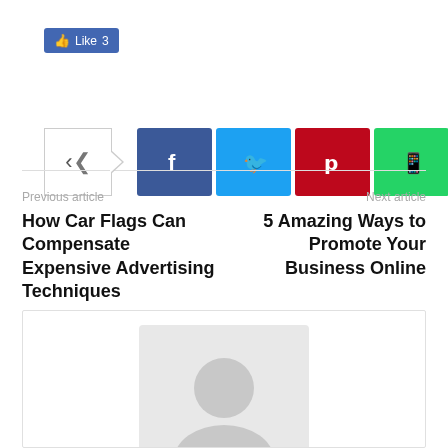[Figure (screenshot): Facebook Like button showing thumbs up icon and 'Like 3' text on blue background]
[Figure (screenshot): Social sharing buttons row: native share icon (grey border with arrow), Facebook (blue), Twitter (cyan), Pinterest (red), WhatsApp (green)]
Previous article
How Car Flags Can Compensate Expensive Advertising Techniques
Next article
5 Amazing Ways to Promote Your Business Online
[Figure (photo): Author avatar placeholder box with grey background and silhouette person icon, partially visible at bottom of page]